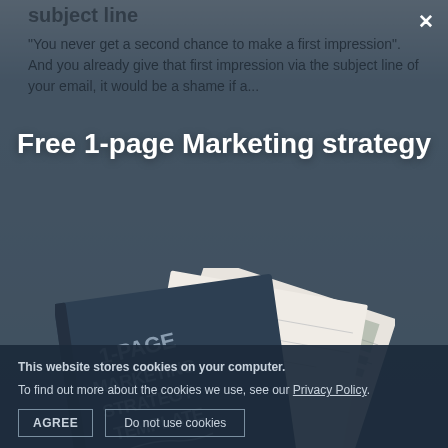subject line
"You never get a second chance to make a first impression". And you already give that first impression via the subject line of your email, it would be a shame if a...
[Figure (screenshot): Modal popup overlay showing 'Free 1-page Marketing strategy' title with a 1-Page Marketing Strategy Template book image and an email marketing input field]
This website stores cookies on your computer.
To find out more about the cookies we use, see our Privacy Policy.
AGREE
Do not use cookies